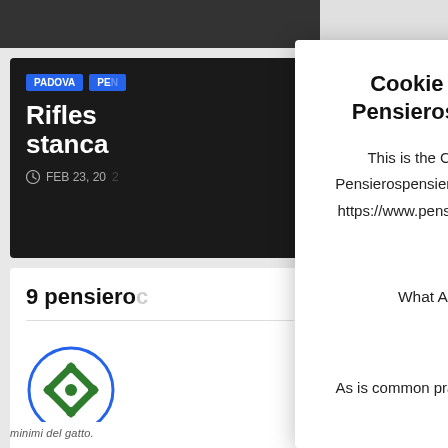[Figure (screenshot): Background website page showing article card with tags PADOVA and partially visible tag, article title starting with 'Rifles...' and 'stanca', date FEB 23, 20.. with clock icon, and lower white card with '9 pensiero...' heading and a green/blue logo SVG icon.]
Cookie Policy for Pensierospensierato
This is the Cookie Policy for Pensierospensierato, accessible from https://www.pensierospensierato.net/
What Are Cookies
As is common practice with almost all